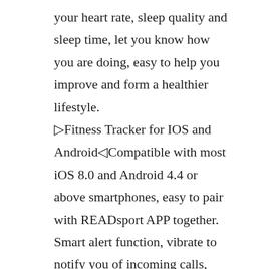your heart rate, sleep quality and sleep time, let you know how you are doing, easy to help you improve and form a healthier lifestyle. ◁Fitness Tracker for IOS and Android▷Compatible with most iOS 8.0 and Android 4.4 or above smartphones, easy to pair with READsport APP together. Smart alert function, vibrate to notify you of incoming calls, messages, notifications from apps (Facebook, WhatsApp, Instagram and Twitter, etc.) You can also hang up your incoming calls with the watch. ◁Waterproof Fitness Smartwatch▷comes with a built-in USB charging cable. Just align the charging port, it will automatically adsorb and